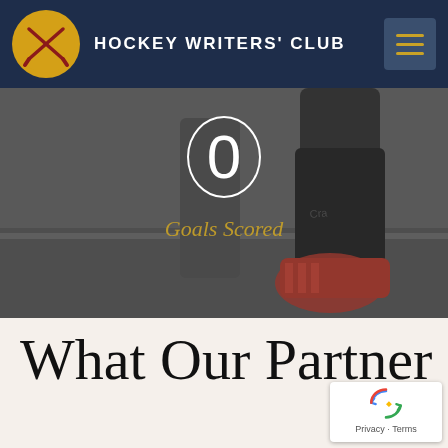Hockey Writers' Club
[Figure (photo): Black and white photo of a hockey player's legs running on a field, wearing black socks and red/pink Adidas hockey shoes. Overlaid with the number '0' in a white circle outline and the text 'Goals Scored' in gold italic font.]
What Our Partner
[Figure (other): Google reCAPTCHA badge with blue recycling arrow icon and 'Privacy - Terms' text]